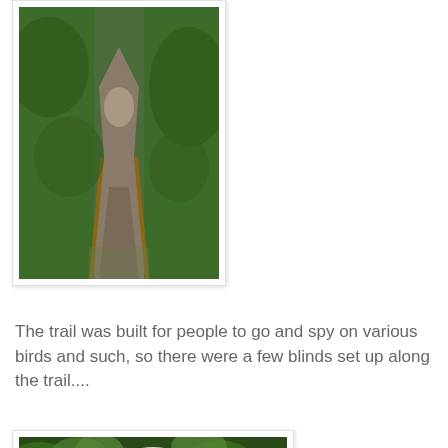[Figure (photo): A winding gravel trail through a green wooded area, bordered by wooden planks on the sides, with lush vegetation on both sides]
The trail was built for people to go and spy on various birds and such, so there were a few blinds set up along the trail....
[Figure (photo): Close-up of binoculars mounted on a stand viewed from below, surrounded by green leafy tree canopy with bright sky visible above]